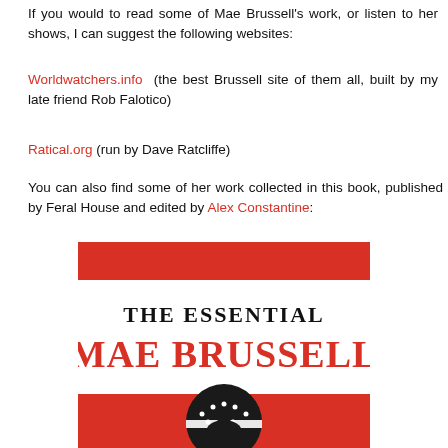If you would to read some of Mae Brussell's work, or listen to her shows, I can suggest the following websites:
Worldwatchers.info (the best Brussell site of them all, built by my late friend Rob Falotico)
Ratical.org (run by Dave Ratcliffe)
You can also find some of her work collected in this book, published by Feral House and edited by Alex Constantine:
[Figure (illustration): Book cover for 'The Essential Mae Brussell' showing red background with bold black and red text and a circular image of a person at the bottom]